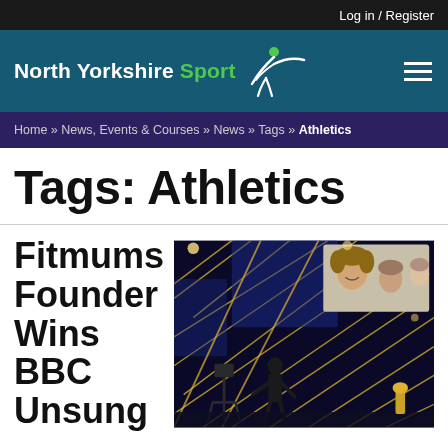Log in / Register
[Figure (logo): North Yorkshire Sport logo with stylized figure icon in white and green on teal background]
Home » News, Events & Courses » News » Tags » Athletics
Tags: Athletics
Fitmums Founder Wins BBC Unsung
[Figure (photo): Award show stage with gold and blue geometric backdrop, a person presenting on stage with camera equipment visible, and a screen showing a woman with curly hair smiling along with other audience members]